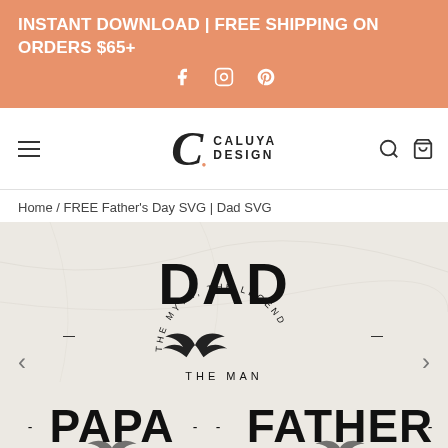INSTANT DOWNLOAD | FREE SHIPPING ON ORDERS $65+
[Figure (screenshot): Caluya Design website header with logo, hamburger menu, search and cart icons]
Home / FREE Father's Day SVG | Dad SVG
[Figure (illustration): Dad SVG design showing 'DAD - THE MAN THE MYTH, THE LEGEND' with mustache graphic in circular text arrangement, and below partial text showing PAPA and FATHER with mustache graphics]